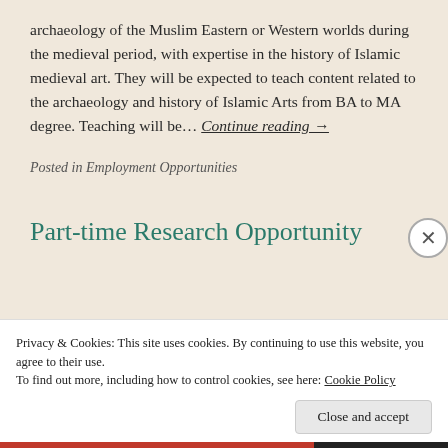archaeology of the Muslim Eastern or Western worlds during the medieval period, with expertise in the history of Islamic medieval art. They will be expected to teach content related to the archaeology and history of Islamic Arts from BA to MA degree. Teaching will be… Continue reading →
Posted in Employment Opportunities
Part-time Research Opportunity
Privacy & Cookies: This site uses cookies. By continuing to use this website, you agree to their use. To find out more, including how to control cookies, see here: Cookie Policy
Close and accept